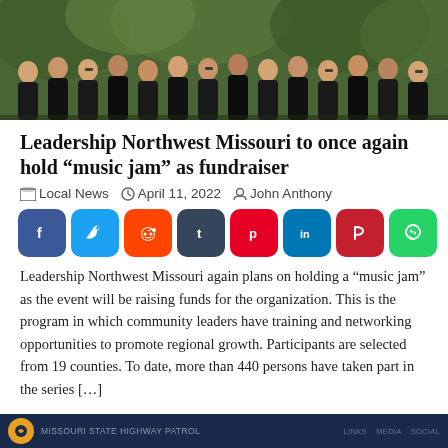[Figure (photo): Group photo of approximately 15 people wearing matching black t-shirts standing outdoors in front of green foliage]
Leadership Northwest Missouri to once again hold “music jam” as fundraiser
Local News  □  April 11, 2022  □  John Anthony
[Figure (infographic): Row of 8 social media share buttons: Facebook (blue), Twitter (light blue), Reddit (orange), Tumblr (dark blue), Pinterest (red), LinkedIn (blue), Parler (red), WhatsApp (green)]
Leadership Northwest Missouri again plans on holding a “music jam” as the event will be raising funds for the organization. This is the program in which community leaders have training and networking opportunities to promote regional growth. Participants are selected from 19 counties. To date, more than 440 persons have taken part in the series […]
[Figure (screenshot): Dark navy footer bar with a circular logo and small text]